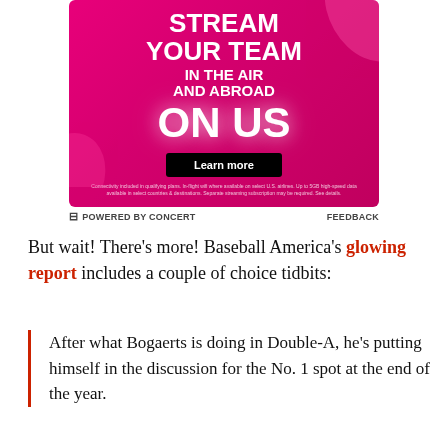[Figure (illustration): T-Mobile advertisement banner with magenta/pink background. Text reads: STREAM YOUR TEAM IN THE AIR AND ABROAD ON US. Black 'Learn more' button. Fine print at bottom. Footer: Powered by Concert | Feedback.]
But wait! There's more! Baseball America's glowing report includes a couple of choice tidbits:
After what Bogaerts is doing in Double-A, he's putting himself in the discussion for the No. 1 spot at the end of the year.